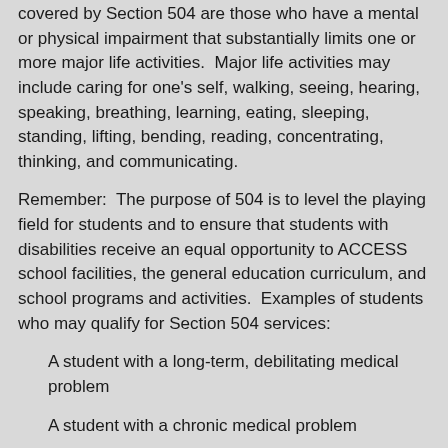covered by Section 504 are those who have a mental or physical impairment that substantially limits one or more major life activities.  Major life activities may include caring for one's self, walking, seeing, hearing, speaking, breathing, learning, eating, sleeping, standing, lifting, bending, reading, concentrating, thinking, and communicating.
Remember:  The purpose of 504 is to level the playing field for students and to ensure that students with disabilities receive an equal opportunity to ACCESS school facilities, the general education curriculum, and school programs and activities.  Examples of students who may qualify for Section 504 services:
A student with a long-term, debilitating medical problem
A student with a chronic medical problem
A student with a mental illness